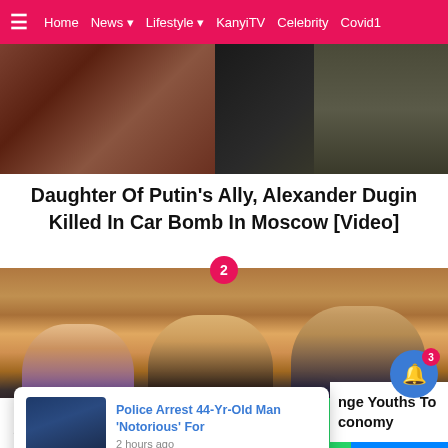≡  Home  News ▾  Lifestyle ▾  KanyiTV  Celebrity  Covid1
[Figure (photo): Top image strip showing two people, partial view — dark tones on right, brownish on left]
Daughter Of Putin's Ally, Alexander Dugin Killed In Car Bomb In Moscow [Video]
[Figure (photo): Three young people clinking beer glasses in a bar/restaurant setting, smiling]
Police Arrest 44-Yr-Old Man 'Notorious' For
2 hours ago
nge Youths To conomy
14 Shares